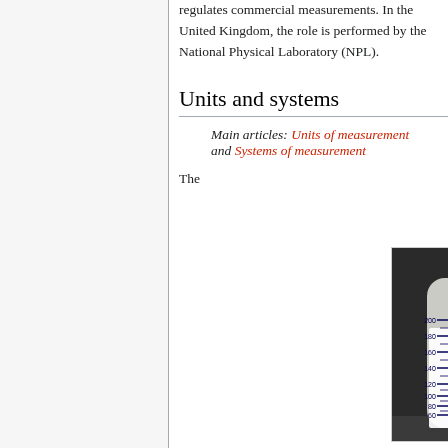regulates commercial measurements. In the United Kingdom, the role is performed by the National Physical Laboratory (NPL).
Units and systems
Main articles: Units of measurement and Systems of measurement
The
[Figure (photo): A baby bottle with measurement markings in mL (60, 80, 100, 120, 140, 160, 180, 200) on one side and oz (2, 3, 4, 5, 6, 8, 9) on the other side, filled with white liquid (milk).]